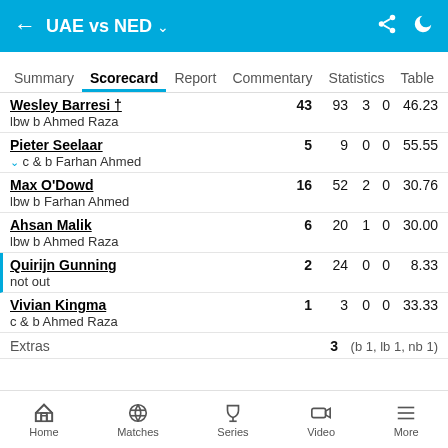UAE vs NED
Summary  Scorecard  Report  Commentary  Statistics  Table
| Player | R | B | 4s | 6s | SR |
| --- | --- | --- | --- | --- | --- |
| Wesley Barresi †
lbw b Ahmed Raza | 43 | 93 | 3 | 0 | 46.23 |
| Pieter Seelaar
c & b Farhan Ahmed | 5 | 9 | 0 | 0 | 55.55 |
| Max O'Dowd
lbw b Farhan Ahmed | 16 | 52 | 2 | 0 | 30.76 |
| Ahsan Malik
lbw b Ahmed Raza | 6 | 20 | 1 | 0 | 30.00 |
| Quirijn Gunning
not out | 2 | 24 | 0 | 0 | 8.33 |
| Vivian Kingma
c & b Ahmed Raza | 1 | 3 | 0 | 0 | 33.33 |
| Extras
(b 1, lb 1, nb 1) | 3 |  |  |  |  |
Home  Matches  Series  Video  More